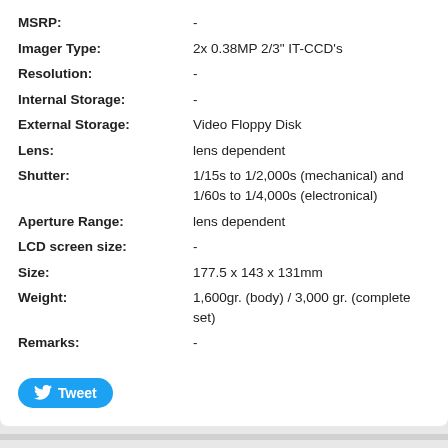| Attribute | Value |
| --- | --- |
| MSRP: | - |
| Imager Type: | 2x 0.38MP 2/3" IT-CCD's |
| Resolution: | - |
| Internal Storage: | - |
| External Storage: | Video Floppy Disk |
| Lens: | lens dependent |
| Shutter: | 1/15s to 1/2,000s (mechanical) and 1/60s to 1/4,000s (electronical) |
| Aperture Range: | lens dependent |
| LCD screen size: | - |
| Size: | 177.5 x 143 x 131mm |
| Weight: | 1,600gr. (body) / 3,000 gr. (complete set) |
| Remarks: | - |
[Figure (other): Twitter Tweet button with bird logo]
SWITCH TO DESKTOP VERSION
The Digital Camera Museum
Disclaimer & Copyright Notice